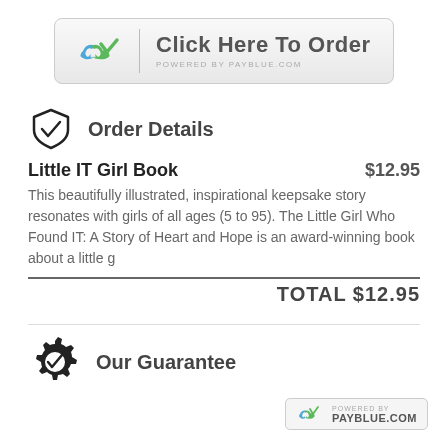[Figure (other): Click Here To Order button powered by PayBlue.com with blue/green chain link logo]
Order Details
Little IT Girl Book   $12.95
This beautifully illustrated, inspirational keepsake story resonates with girls of all ages (5 to 95). The Little Girl Who Found IT: A Story of Heart and Hope is an award-winning book about a little g
TOTAL $12.95
Our Guarantee
[Figure (logo): Powered by PayBlue.com badge with blue/green chain link logo]